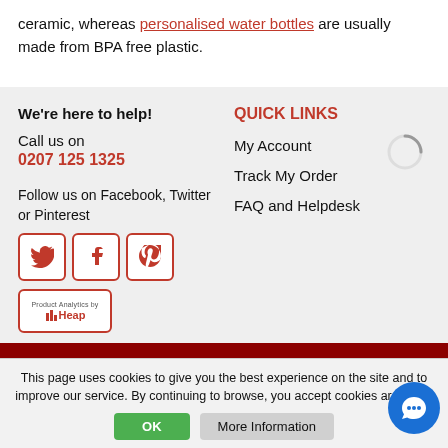ceramic, whereas personalised water bottles are usually made from BPA free plastic.
We're here to help!
Call us on
0207 125 1325
Follow us on Facebook, Twitter or Pinterest
[Figure (logo): Social media icons for Twitter, Facebook, Pinterest and Heap analytics badge]
QUICK LINKS
My Account
Track My Order
FAQ and Helpdesk
This page uses cookies to give you the best experience on the site and to improve our service. By continuing to browse, you accept cookies are used.